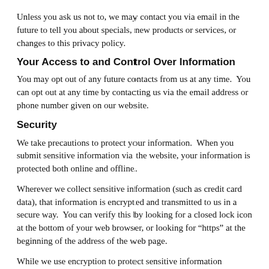Unless you ask us not to, we may contact you via email in the future to tell you about specials, new products or services, or changes to this privacy policy.
Your Access to and Control Over Information
You may opt out of any future contacts from us at any time.  You can opt out at any time by contacting us via the email address or phone number given on our website.
Security
We take precautions to protect your information.  When you submit sensitive information via the website, your information is protected both online and offline.
Wherever we collect sensitive information (such as credit card data), that information is encrypted and transmitted to us in a secure way.  You can verify this by looking for a closed lock icon at the bottom of your web browser, or looking for “https” at the beginning of the address of the web page.
While we use encryption to protect sensitive information transmitted online, we also protect your information offline.  Only employees who need the information to perform a specific job (for example, billing or